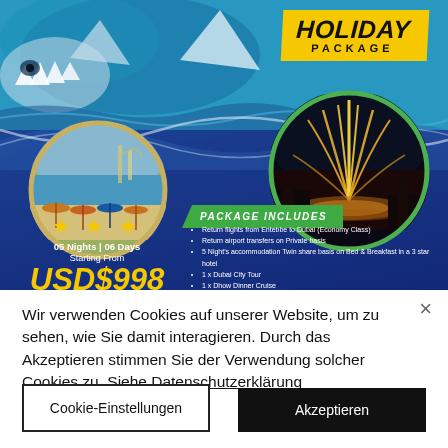[Figure (illustration): Holiday package advertisement for Dubai. Dark blue background with shark imagery at top, two circular photos (beach resort and illuminated fountain), 'HOLIDAY PACKAGE' yellow badge, 3 stars, pricing USD$998. Package includes: Return flights from Entebbe to Dubai (Economy Class), Return airport transfers on Private basis, 5 Night's accommodation Twin share basis on Bed & Breakfast in a 3 star hotel, 1x Dubai City Tour, 1x Dhow Dinner Cruise, 1x Dessert Safari with BBQ Dinner, Return airport transfers on Private basis.]
Wir verwenden Cookies auf unserer Website, um zu sehen, wie Sie damit interagieren. Durch das Akzeptieren stimmen Sie der Verwendung solcher Cookies zu. Siehe Datenschutzerklärung
Cookie-Einstellungen
Akzeptieren